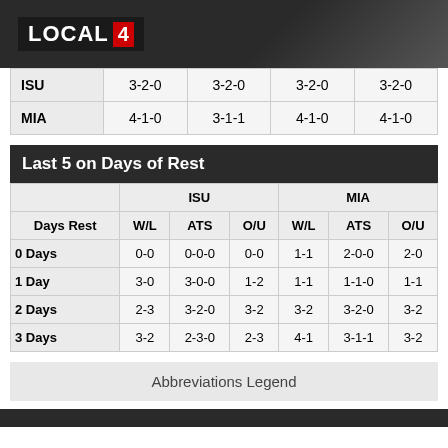[Figure (logo): LOCAL 4 logo on dark background]
|  | Col1 | Col2 | Col3 | Col4 |
| --- | --- | --- | --- | --- |
| ISU | 3-2-0 | 3-2-0 | 3-2-0 | 3-2-0 |
| MIA | 4-1-0 | 3-1-1 | 4-1-0 | 4-1-0 |
Last 5 on Days of Rest
| Days Rest | W/L | ATS | O/U | W/L | ATS | O/U |
| --- | --- | --- | --- | --- | --- | --- |
| 0 Days | 0-0 | 0-0-0 | 0-0 | 1-1 | 2-0-0 | 2-0 |
| 1 Day | 3-0 | 3-0-0 | 1-2 | 1-1 | 1-1-0 | 1-1 |
| 2 Days | 2-3 | 3-2-0 | 3-2 | 3-2 | 3-2-0 | 3-2 |
| 3 Days | 3-2 | 2-3-0 | 2-3 | 4-1 | 3-1-1 | 3-2 |
Abbreviations Legend